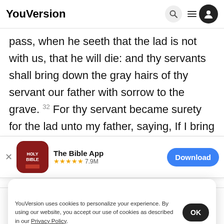YouVersion
pass, when he seeth that the lad is not with us, that he will die: and thy servants shall bring down the gray hairs of thy servant our father with sorrow to the grave. 32 For thy servant became surety for the lad unto my father, saying, If I bring him not unto
[Figure (screenshot): App download banner for The Bible App with Holy Bible icon, 5 stars, 7.9M rating, and Download button]
abide in
let the l
YouVersion uses cookies to personalize your experience. By using our website, you accept our use of cookies as described in our Privacy Policy.
Home | Bible | Plans | Videos